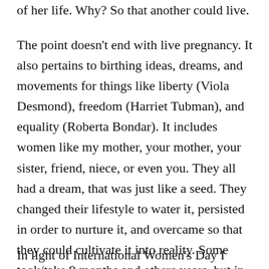of her life. Why? So that another could live.
The point doesn't end with live pregnancy. It also pertains to birthing ideas, dreams, and movements for things like liberty (Viola Desmond), freedom (Harriet Tubman), and equality (Roberta Bondar). It includes women like my mother, your mother, your sister, friend, niece, or even you. They all had a dream, that was just like a seed. They changed their lifestyle to water it, persisted in order to nurture it, and overcame so that they could cultivate it into reality. Some took/take 9 months and others years, but in the end, they give birth to an ideal that changes someone's world.
In light of International Women's Day I would like to